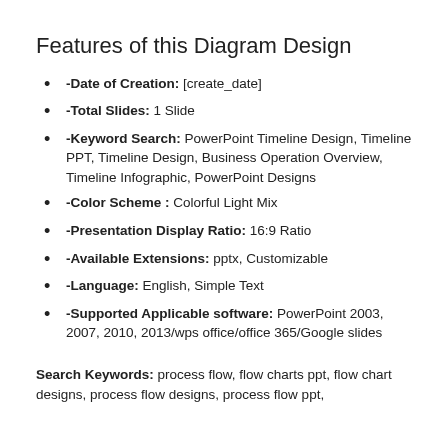Features of this Diagram Design
-Date of Creation: [create_date]
-Total Slides: 1 Slide
-Keyword Search: PowerPoint Timeline Design, Timeline PPT, Timeline Design, Business Operation Overview, Timeline Infographic, PowerPoint Designs
-Color Scheme : Colorful Light Mix
-Presentation Display Ratio: 16:9 Ratio
-Available Extensions: pptx, Customizable
-Language: English, Simple Text
-Supported Applicable software: PowerPoint 2003, 2007, 2010, 2013/wps office/office 365/Google slides
Search Keywords: process flow, flow charts ppt, flow chart designs, process flow designs, process flow ppt,